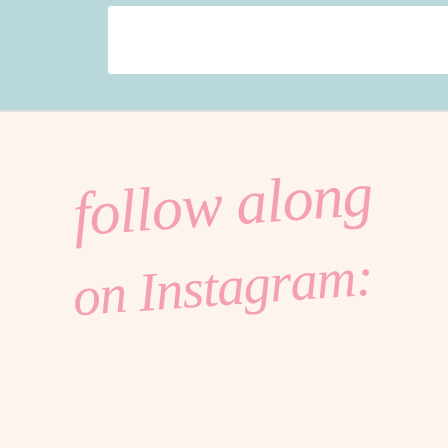[Figure (screenshot): Light blue header bar with white input/search box visible at top of page]
follow along on Instagram: